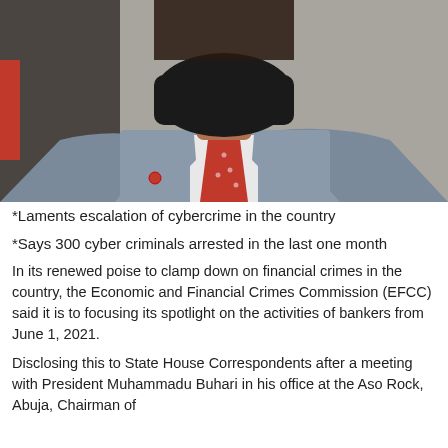[Figure (photo): Man wearing a black face mask, light grey suit, white shirt, and red/pink tie with small white dots. Only the torso and lower face/neck are visible. Background shows a dark wall and partial red element.]
*Laments escalation of cybercrime in the country
*Says 300 cyber criminals arrested in the last one month
In its renewed poise to clamp down on financial crimes in the country, the Economic and Financial Crimes Commission (EFCC) said it is to focusing its spotlight on the activities of bankers from June 1, 2021.
Disclosing this to State House Correspondents after a meeting with President Muhammadu Buhari in his office at the Aso Rock, Abuja, Chairman of